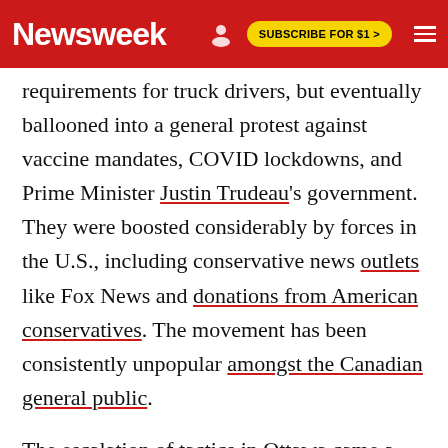Newsweek | SUBSCRIBE FOR $1 >
requirements for truck drivers, but eventually ballooned into a general protest against vaccine mandates, COVID lockdowns, and Prime Minister Justin Trudeau's government. They were boosted considerably by forces in the U.S., including conservative news outlets like Fox News and donations from American conservatives. The movement has been consistently unpopular amongst the Canadian general public.
The escalation of tactics in Ottawa came a